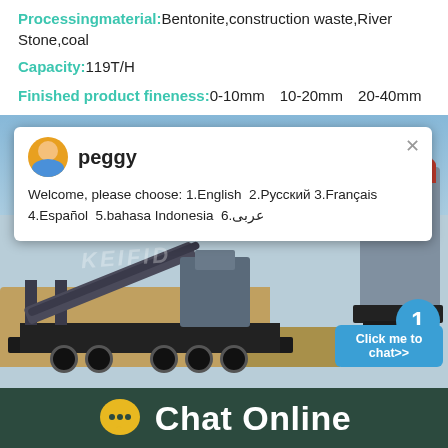Processingmaterial: Bentonite,construction waste,River Stone,coal
Capacity: 119T/H
Finished product fineness: 0-10mm、10-20mm、20-40mm
[Figure (photo): Industrial mobile crushing/screening machine on a truck trailer at a job site with rocky terrain and blue sky. A live chat popup overlay shows agent 'peggy' with multilingual welcome message.]
Chat Online